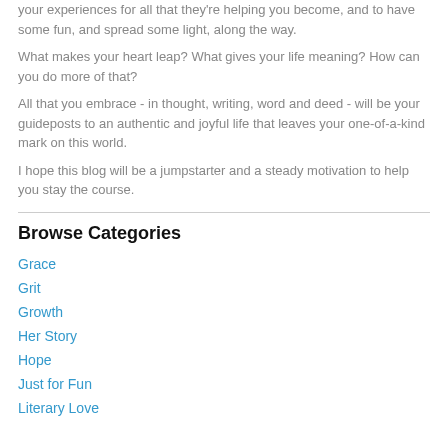your experiences for all that they're helping you become, and to have some fun, and spread some light, along the way.
What makes your heart leap? What gives your life meaning? How can you do more of that?
All that you embrace - in thought, writing, word and deed - will be your guideposts to an authentic and joyful life that leaves your one-of-a-kind mark on this world.
I hope this blog will be a jumpstarter and a steady motivation to help you stay the course.
Browse Categories
Grace
Grit
Growth
Her Story
Hope
Just for Fun
Literary Love